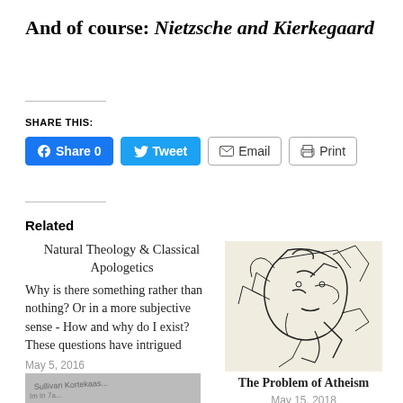And of course: Nietzsche and Kierkegaard
SHARE THIS:
[Figure (screenshot): Social share buttons: Facebook Share 0, Tweet, Email, Print]
Related
Natural Theology & Classical Apologetics
Why is there something rather than nothing? Or in a more subjective sense - How and why do I exist? These questions have intrigued
May 5, 2016
In "My Writings"
[Figure (illustration): Line drawing illustration of a face in profile with abstract marks]
The Problem of Atheism
May 15, 2018
In "History"
[Figure (photo): Partial photo visible at bottom of page, grayscale handwriting or text image]